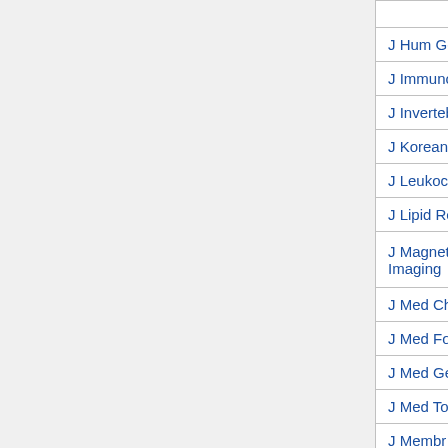| Abbreviation | Full Journal Name |
| --- | --- |
| J Hum Genet | Journal of Human Genetics |
| J Immunol | The Journal of Immunology |
| J Invertebr Pathol | Journal of Invertebrate Pathology |
| J Korean Med Sci | Journal of Korean Medical Science |
| J Leukoc Biol | Journal of Leukocyte Biology |
| J Lipid Res | The Journal of Lipid Research |
| J Magnetic Resonance Imaging | The Journal of Magnetic Resonance Imaging |
| J Med Chem | Journal of Medicinal Chemistry |
| J Med Food | Journal of Medicinal Food |
| J Med Genet | Journal of Medical Genetics |
| J Med Toxicol | Journal of Medical Toxicology |
| J Membr Biol | The Journal of Membrane Biology |
| J Mol Biol | Journal of Molecular Biology |
| J Mol Cell Cardiol | The Journal of Molecular and Cellular Cardiology |